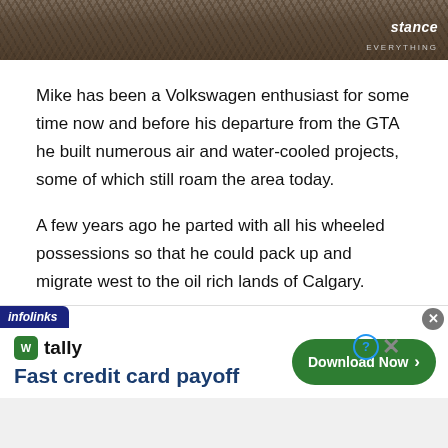[Figure (photo): Header image showing dark gravel/asphalt texture with 'stance EVERYTHING' logo in the top-right corner]
Mike has been a Volkswagen enthusiast for some time now and before his departure from the GTA he built numerous air and water-cooled projects, some of which still roam the area today.
A few years ago he parted with all his wheeled possessions so that he could pack up and migrate west to the oil rich lands of Calgary.
[Figure (screenshot): Infolinks advertisement banner for Tally app showing 'Fast credit card payoff' with a Download Now button]